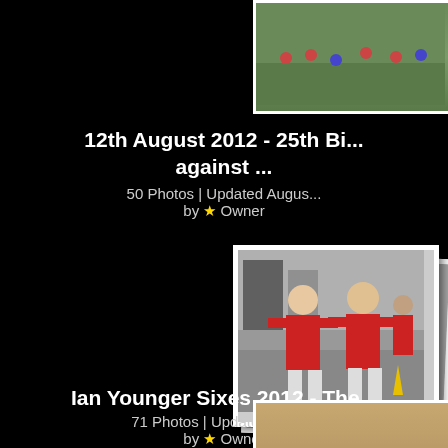[Figure (photo): Partially visible photo of a sports team on a grass field, top right corner]
12th August 2012 - 25th Bi... against ...
50 Photos | Updated Augus...
by ★ Owner
[Figure (photo): Two men wearing red football shirts standing together, photo album stack style]
Ian Younger Sixes 2012 - The...
71 Photos | Updated June...
by ★ Owner
[Figure (photo): Partially visible photo at bottom of page]